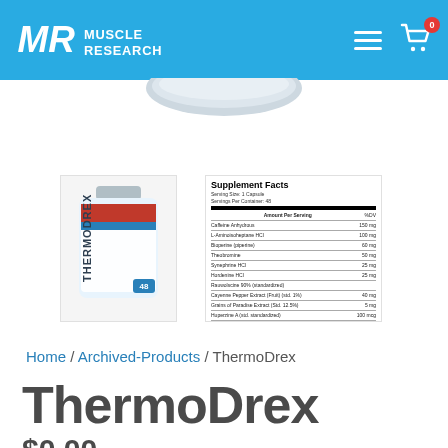MR Muscle Research — navigation header with logo, hamburger menu, and cart icon (badge: 0)
[Figure (photo): Bottom of a supplement bottle/container visible at top center of page, showing rounded cap edge]
[Figure (photo): Thumbnail of ThermoDrex supplement bottle product]
[Figure (table-as-image): Supplement Facts panel for ThermoDrex showing serving size 1 capsule, 48 servings per container, with ingredient list including Caffeine Anhydrous, L-Aminoisoheptane HCl, Bioperine, and other ingredients with mg amounts]
Home / Archived-Products / ThermoDrex
ThermoDrex
$0.00